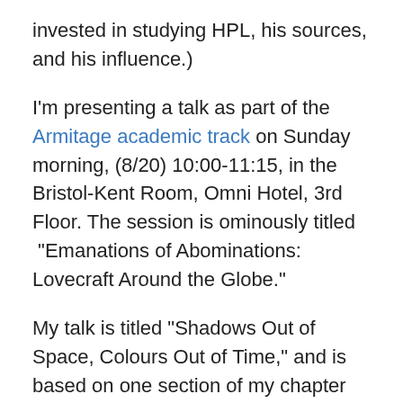invested in studying HPL, his sources, and his influence.)
I'm presenting a talk as part of the Armitage academic track on Sunday morning, (8/20) 10:00-11:15, in the Bristol-Kent Room, Omni Hotel, 3rd Floor. The session is ominously titled “Emanations of Abominations: Lovecraft Around the Globe.”
My talk is titled “Shadows Out of Space, Colours Out of Time,” and is based on one section of my chapter contribution for the essay collection, The Call of Cosmic Panic: New Essays on Supernatural Horror in Literature (while the peer-review process always makes publication dates tricky to predict, the collection should appear in late 2018.)
The chapter examines how Lovecraft’s ideas of weird fiction and ...